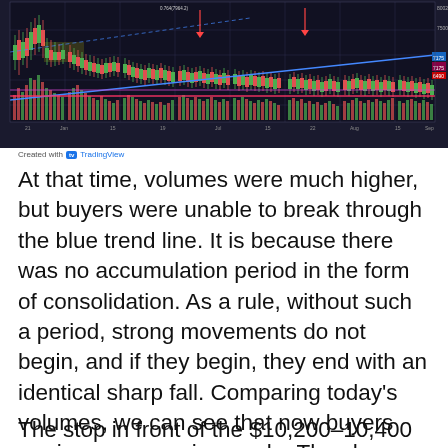[Figure (continuous-plot): Candlestick chart with volume bars, blue upward trend line, red downward annotations, yellow highlighted consolidation area, and horizontal purple/pink level lines. X-axis shows dates from approximately July to September. Y-axis shows price levels around 7000-8000 range with labeled values on right side.]
Created with TradingView
At that time, volumes were much higher, but buyers were unable to break through the blue trend line. It is because there was no accumulation period in the form of consolidation. As a rule, without such a period, strong movements do not begin, and if they begin, they end with an identical sharp fall. Comparing today's volumes, we can see that now buyers are in energy-saving mode. They have changed the market situation locally for their own benefit.
The stop in front of the $10,200–10,400 price range, allows another price range test of the